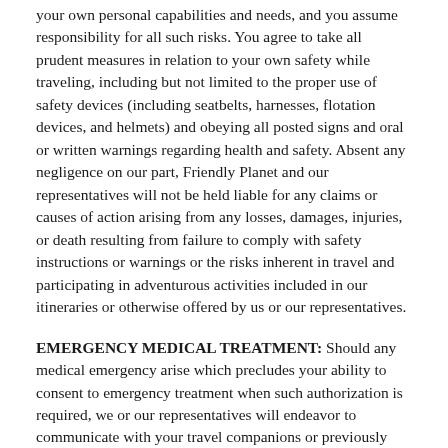your own personal capabilities and needs, and you assume responsibility for all such risks. You agree to take all prudent measures in relation to your own safety while traveling, including but not limited to the proper use of safety devices (including seatbelts, harnesses, flotation devices, and helmets) and obeying all posted signs and oral or written warnings regarding health and safety. Absent any negligence on our part, Friendly Planet and our representatives will not be held liable for any claims or causes of action arising from any losses, damages, injuries, or death resulting from failure to comply with safety instructions or warnings or the risks inherent in travel and participating in adventurous activities included in our itineraries or otherwise offered by us or our representatives.
EMERGENCY MEDICAL TREATMENT: Should any medical emergency arise which precludes your ability to consent to emergency treatment when such authorization is required, we or our representatives will endeavor to communicate with your travel companions or previously designated emergency contact to request permission for any necessary treatment. If